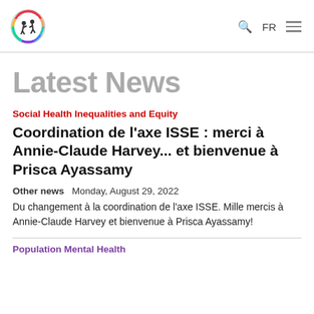Logo | Q FR ≡
Latest News
Social Health Inequalities and Equity
Coordination de l'axe ISSE : merci à Annie-Claude Harvey... et bienvenue à Prisca Ayassamy
Other news  Monday, August 29, 2022
Du changement à la coordination de l'axe ISSE. Mille mercis à Annie-Claude Harvey et bienvenue à Prisca Ayassamy!
Population Mental Health